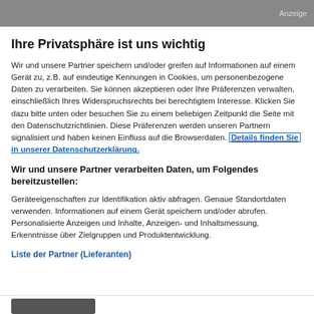Anzeige
Ihre Privatsphäre ist uns wichtig
Wir und unsere Partner speichern und/oder greifen auf Informationen auf einem Gerät zu, z.B. auf eindeutige Kennungen in Cookies, um personenbezogene Daten zu verarbeiten. Sie können akzeptieren oder Ihre Präferenzen verwalten, einschließlich Ihres Widerspruchsrechts bei berechtigtem Interesse. Klicken Sie dazu bitte unten oder besuchen Sie zu einem beliebigen Zeitpunkt die Seite mit den Datenschutzrichtlinien. Diese Präferenzen werden unseren Partnern signalisiert und haben keinen Einfluss auf die Browserdaten. Details finden Sie in unserer Datenschutzerklärung.
Wir und unsere Partner verarbeiten Daten, um Folgendes bereitzustellen:
Geräteeigenschaften zur Identifikation aktiv abfragen. Genaue Standortdaten verwenden. Informationen auf einem Gerät speichern und/oder abrufen. Personalisierte Anzeigen und Inhalte, Anzeigen- und Inhaltsmessung, Erkenntnisse über Zielgruppen und Produktentwicklung.
Liste der Partner (Lieferanten)